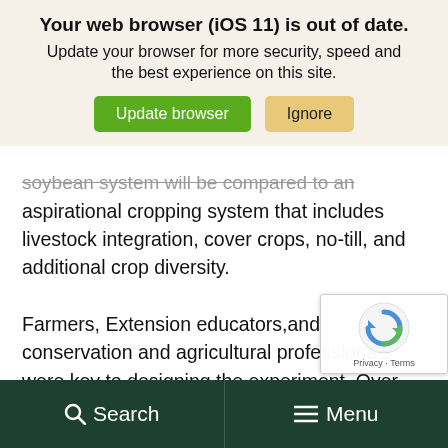Your web browser (iOS 11) is out of date.
Update your browser for more security, speed and the best experience on this site.
soybean system will be compared to an aspirational cropping system that includes livestock integration, cover crops, no-till, and additional crop diversity.
Farmers, Extension educators,and conservation and agricultural professionals were key to designing the experiment. Over the winter, these stakeholders worked together with researchers to determine the rotation and practices of the aspirational cropping system.
[Figure (other): reCAPTCHA widget with Privacy and Terms links]
Search  Menu